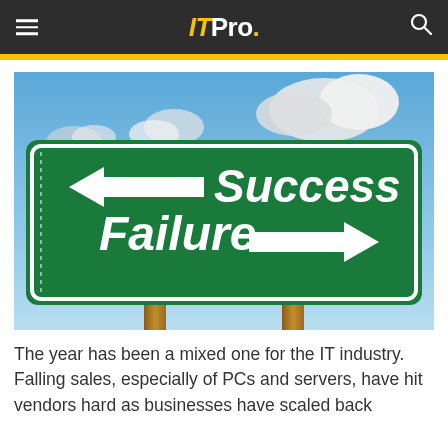ITPro.
[Figure (photo): Road sign with two directional arrows: left arrow pointing to 'Success' and right arrow pointing to 'Failure', against a blue sky with clouds background. Green road sign with white text and border.]
The year has been a mixed one for the IT industry. Falling sales, especially of PCs and servers, have hit vendors hard as businesses have scaled back